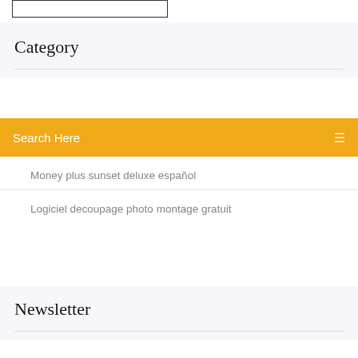[Figure (other): Small bordered box at top left corner, partially visible]
Category
Search Here
Money plus sunset deluxe español
Logiciel decoupage photo montage gratuit
Newsletter